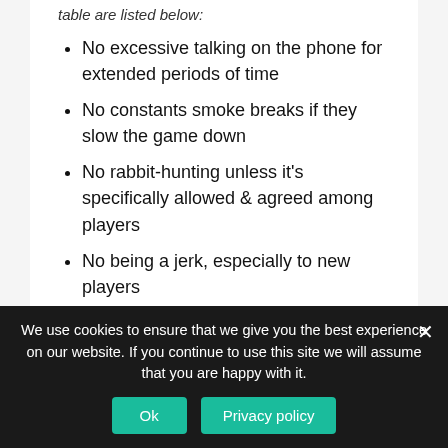table are listed below:
No excessive talking on the phone for extended periods of time
No constants smoke breaks if they slow the game down
No rabbit-hunting unless it's specifically allowed & agreed among players
No being a jerk, especially to new players
No acting like a know-it-all
No advising people on how to play their hands
What to Eat & Drink in a home
We use cookies to ensure that we give you the best experience on our website. If you continue to use this site we will assume that you are happy with it.